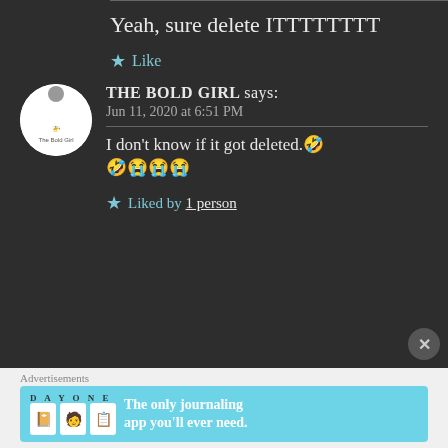Yeah, sure delete ITTTTTTTT
★ Like
THE BOLD GIRL says: Jun 11, 2020 at 6:51 PM
I don't know if it got deleted.🤣🤣😭😭😭
★ Liked by 1 person
Advertisements
DAY ONE - The only journaling app you'll ever need.